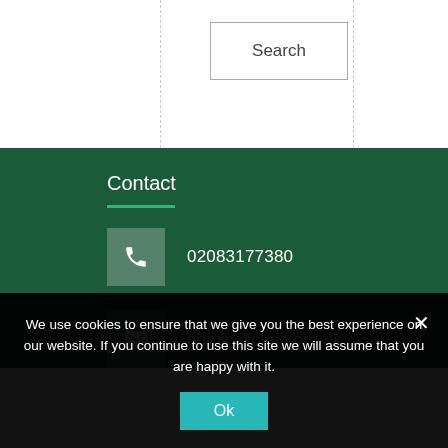Search
Contact
02083177380
admin@clmd.org.uk
Course Finder
We use cookies to ensure that we give you the best experience on our website. If you continue to use this site we will assume that you are happy with it.
Ok